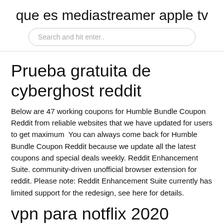que es mediastreamer apple tv
Search and hit enter..
Prueba gratuita de cyberghost reddit
Below are 47 working coupons for Humble Bundle Coupon Reddit from reliable websites that we have updated for users to get maximum  You can always come back for Humble Bundle Coupon Reddit because we update all the latest coupons and special deals weekly. Reddit Enhancement Suite. community-driven unofficial browser extension for reddit. Please note: Reddit Enhancement Suite currently has limited support for the redesign, see here for details.
vpn para notflix 2020 gratis